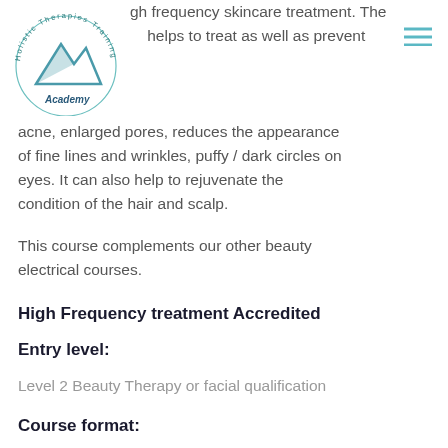Holistic Therapies Training Academy
gh frequency skincare treatment. The helps to treat as well as prevent acne, enlarged pores, reduces the appearance of fine lines and wrinkles, puffy / dark circles on eyes. It can also help to rejuvenate the condition of the hair and scalp.
This course complements our other beauty electrical courses.
High Frequency treatment Accredited
Entry level:
Level 2 Beauty Therapy or facial qualification
Course format: